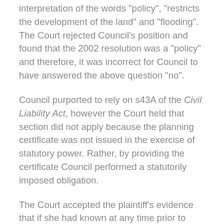interpretation of the words "policy", "restricts the development of the land" and "flooding". The Court rejected Council's position and found that the 2002 resolution was a "policy" and therefore, it was incorrect for Council to have answered the above question "no".
Council purported to rely on s43A of the Civil Liability Act, however the Court held that section did not apply because the planning certificate was not issued in the exercise of statutory power. Rather, by providing the certificate Council performed a statutorily imposed obligation.
The Court accepted the plaintiff's evidence that if she had known at any time prior to completing the purchase that there was a stormwater pipe running under the house, she would have rescinded the contract. The court was therefore satisfied that but for Council's erroneous and negligent answer in the